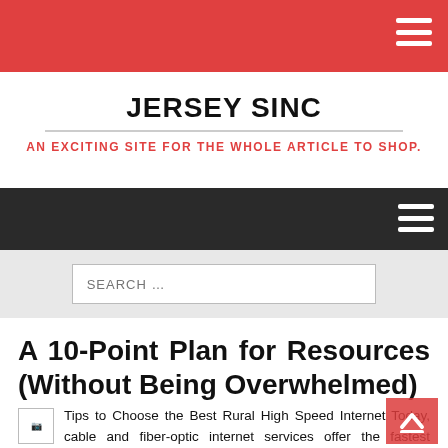JERSEY SINC — AN EXCITING SITE FOR THE WHOLE ARTICLE TO SHOP.
A 10-Point Plan for Resources (Without Being Overwhelmed)
Tips to Choose the Best Rural High Speed Internet Today, cable and fiber-optic internet services offer the fastest connectivity available and can be found virtually everywhere. However, this